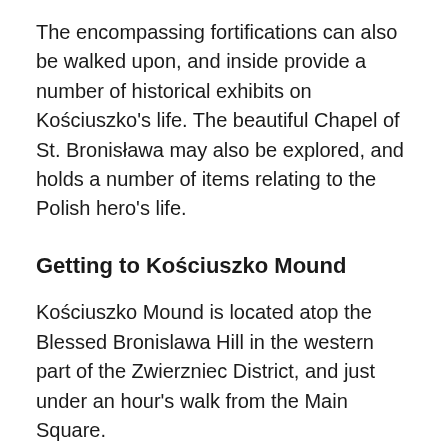The encompassing fortifications can also be walked upon, and inside provide a number of historical exhibits on Kościuszko's life. The beautiful Chapel of St. Bronisława may also be explored, and holds a number of items relating to the Polish hero's life.
Getting to Kościuszko Mound
Kościuszko Mound is located atop the Blessed Bronislawa Hill in the western part of the Zwierzniec District, and just under an hour's walk from the Main Square.
The nearest bus stop is Hofmana on Królowej Jadwigi, a 20-minute walk away, while tram stop Salwator is around a 25-minute walk to the top.